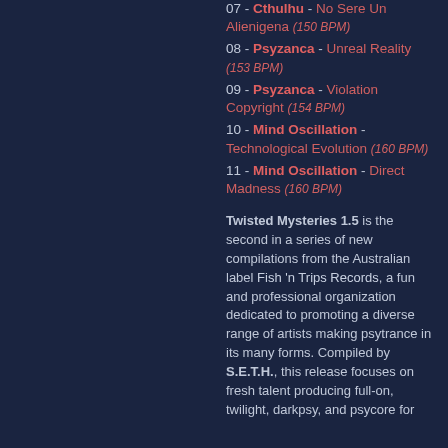07 - Cthulhu - No Sere Un Alienigena (150 BPM)
08 - Psyzanca - Unreal Reality (153 BPM)
09 - Psyzanca - Violation Copyright (154 BPM)
10 - Mind Oscillation - Technological Evolution (160 BPM)
11 - Mind Oscillation - Direct Madness (160 BPM)
Twisted Mysteries 1.5 is the second in a series of new compilations from the Australian label Fish 'n Trips Records, a fun and professional organization dedicated to promoting a diverse range of artists making psytrance in its many forms. Compiled by S.E.T.H., this release focuses on fresh talent producing full-on, twilight, darkpsy, and psycore for